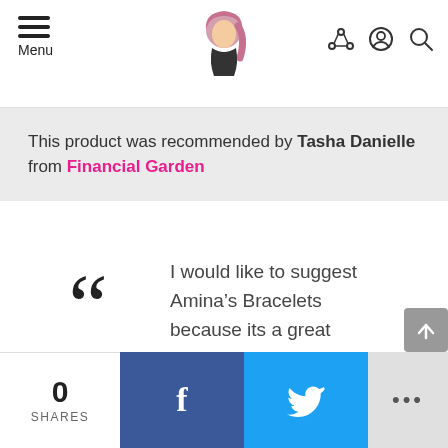Menu | Financial Garden logo | share, user, search icons
This product was recommended by Tasha Danielle from Financial Garden
I would like to suggest Amina’s Bracelets because its a great resource to teach kids about saving and that saving is not the only way to meet a financial goal.
Home
0 SHARES | f (Facebook) | Twitter bird | ...